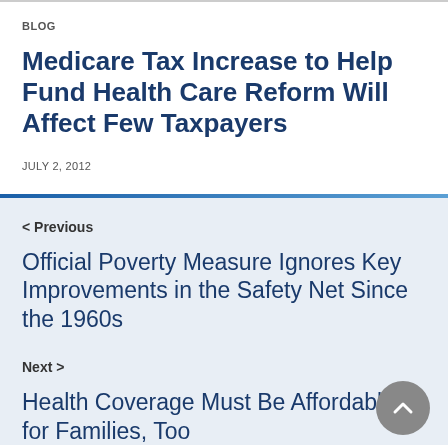BLOG
Medicare Tax Increase to Help Fund Health Care Reform Will Affect Few Taxpayers
JULY 2, 2012
< Previous
Official Poverty Measure Ignores Key Improvements in the Safety Net Since the 1960s
Next >
Health Coverage Must Be Affordable for Families, Too